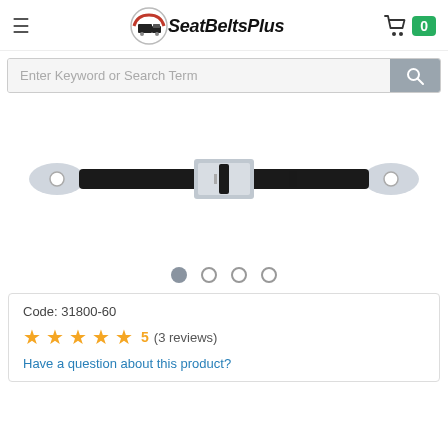≡  SeatBeltsPlus  🛒 0
Enter Keyword or Search Term
[Figure (photo): Black lap seat belt with chrome buckle, mounting holes on each end, shown horizontal on white background]
Code: 31800-60
★★★★★ 5 (3 reviews)
Have a question about this product?